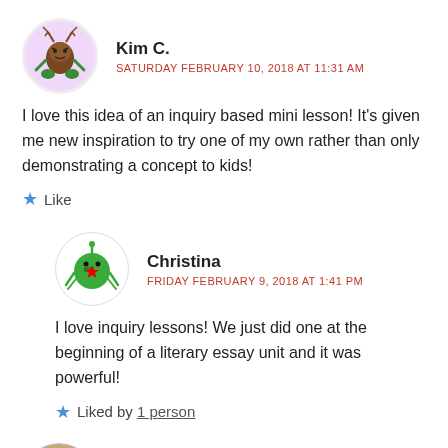[Figure (illustration): Avatar of Kim C. - cartoon brown tree creature with green limbs on pink/lavender circular background]
Kim C.
SATURDAY FEBRUARY 10, 2018 AT 11:31 AM
I love this idea of an inquiry based mini lesson! It's given me new inspiration to try one of my own rather than only demonstrating a concept to kids!
Like
[Figure (illustration): Avatar of Christina - cartoon green round creature with red star on white circular background]
Christina
FRIDAY FEBRUARY 9, 2018 AT 1:41 PM
I love inquiry lessons! We just did one at the beginning of a literary essay unit and it was powerful!
Liked by 1 person
[Figure (photo): Avatar of sunniesmybunnies - photo of a woman with sunglasses]
sunniesmybunnies